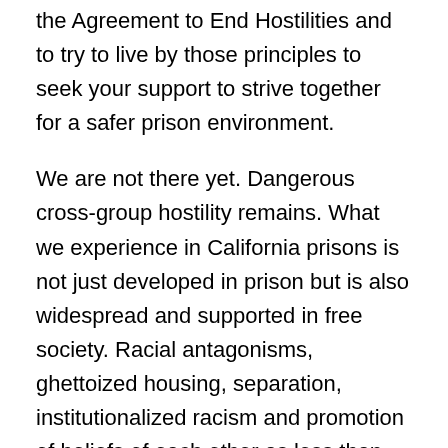the Agreement to End Hostilities and to try to live by those principles to seek your support to strive together for a safer prison environment.
We are not there yet. Dangerous cross-group hostility remains. What we experience in California prisons is not just developed in prison but is also widespread and supported in free society. Racial antagonisms, ghettoized housing, separation, institutionalized racism and promotion of beliefs of each other as less than human, as stupid, as criminal barbarians can cause us to fear and hate each other.It does not serve us or society well. There are no easy ways to challenge these deep American divisions; forcing us together in joint